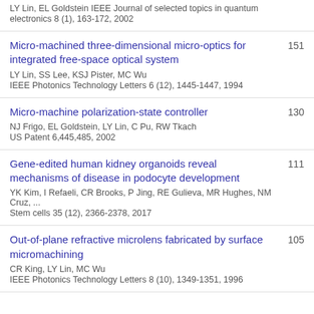LY Lin, EL Goldstein
IEEE Journal of selected topics in quantum electronics 8 (1), 163-172, 2002
Micro-machined three-dimensional micro-optics for integrated free-space optical system
LY Lin, SS Lee, KSJ Pister, MC Wu
IEEE Photonics Technology Letters 6 (12), 1445-1447, 1994
151
Micro-machine polarization-state controller
NJ Frigo, EL Goldstein, LY Lin, C Pu, RW Tkach
US Patent 6,445,485, 2002
130
Gene-edited human kidney organoids reveal mechanisms of disease in podocyte development
YK Kim, I Refaeli, CR Brooks, P Jing, RE Gulieva, MR Hughes, NM Cruz, ...
Stem cells 35 (12), 2366-2378, 2017
111
Out-of-plane refractive microlens fabricated by surface micromachining
CR King, LY Lin, MC Wu
IEEE Photonics Technology Letters 8 (10), 1349-1351, 1996
105